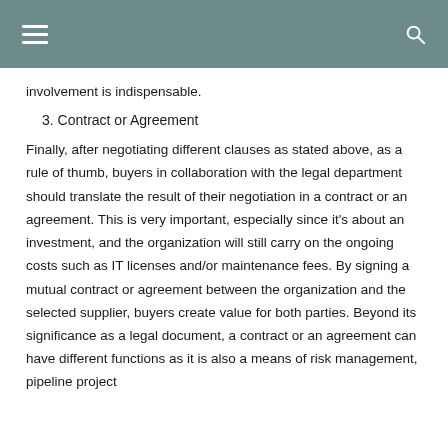involvement is indispensable.
3. Contract or Agreement
Finally, after negotiating different clauses as stated above, as a rule of thumb, buyers in collaboration with the legal department should translate the result of their negotiation in a contract or an agreement. This is very important, especially since it's about an investment, and the organization will still carry on the ongoing costs such as IT licenses and/or maintenance fees. By signing a mutual contract or agreement between the organization and the selected supplier, buyers create value for both parties. Beyond its significance as a legal document, a contract or an agreement can have different functions as it is also a means of risk management, pipeline project